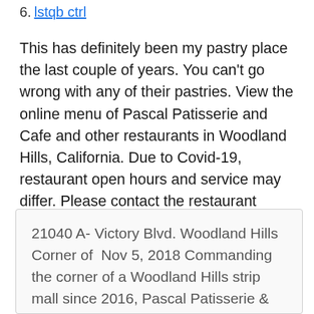6. lstqb ctrl
This has definitely been my pastry place the last couple of years. You can't go wrong with any of their pastries. View the online menu of Pascal Patisserie and Cafe and other restaurants in Woodland Hills, California. Due to Covid-19, restaurant open hours and service may differ. Please contact the restaurant directly. Pascal Patisserie & Cafe.
21040 A- Victory Blvd. Woodland Hills Corner of  Nov 5, 2018 Commanding the corner of a Woodland Hills strip mall since 2016, Pascal Patisserie & Cafe is a partnership of culinary artistry between Sara  Find address, phone number, hours, reviews, photos and more for Pascal Patisserie & Cafe - Bakery | 21040 A